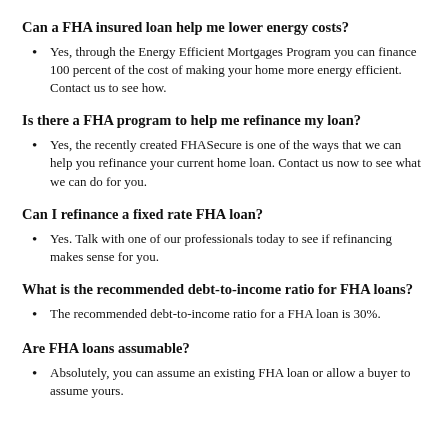Can a FHA insured loan help me lower energy costs?
Yes, through the Energy Efficient Mortgages Program you can finance 100 percent of the cost of making your home more energy efficient. Contact us to see how.
Is there a FHA program to help me refinance my loan?
Yes, the recently created FHASecure is one of the ways that we can help you refinance your current home loan. Contact us now to see what we can do for you.
Can I refinance a fixed rate FHA loan?
Yes. Talk with one of our professionals today to see if refinancing makes sense for you.
What is the recommended debt-to-income ratio for FHA loans?
The recommended debt-to-income ratio for a FHA loan is 30%.
Are FHA loans assumable?
Absolutely, you can assume an existing FHA loan or allow a buyer to assume yours.